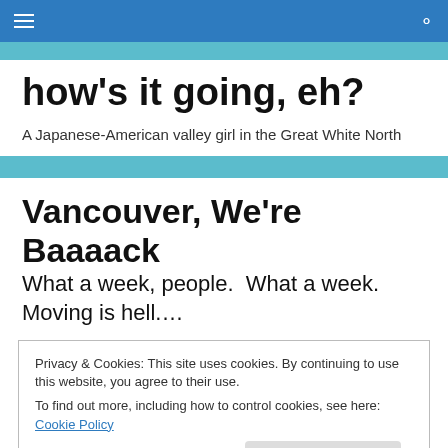how's it going, eh? [navigation bar with hamburger menu and search icon]
how's it going, eh?
A Japanese-American valley girl in the Great White North
Vancouver, We're Baaaack
What a week, people.  What a week.  Moving is hell....
Privacy & Cookies: This site uses cookies. By continuing to use this website, you agree to their use.
To find out more, including how to control cookies, see here: Cookie Policy
Close and accept